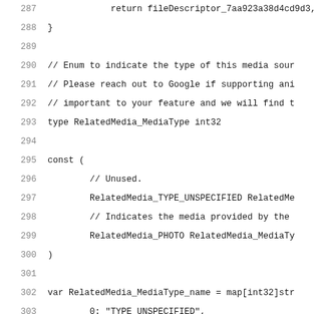287         return fileDescriptor_7aa923a38d4cd9d3,
288 }
289
290     // Enum to indicate the type of this media sour
291     // Please reach out to Google if supporting ani
292     // important to your feature and we will find t
293     type RelatedMedia_MediaType int32
294
295     const (
296             // Unused.
297             RelatedMedia_TYPE_UNSPECIFIED RelatedMe
298             // Indicates the media provided by the
299             RelatedMedia_PHOTO RelatedMedia_MediaTy
300     )
301
302     var RelatedMedia_MediaType_name = map[int32]str
303             0: "TYPE_UNSPECIFIED",
304             1: "PHOTO",
305     }
306
307     var RelatedMedia_MediaType_value = map[string]i
308         "TYPE_UNSPECIFIED": 0,